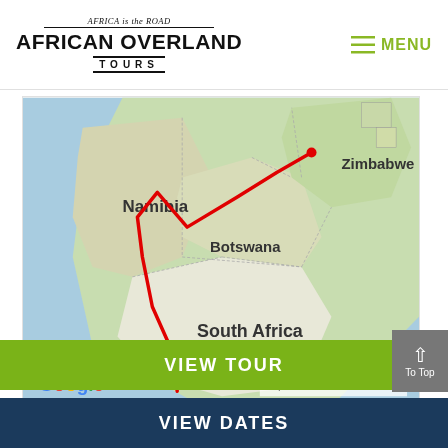[Figure (logo): African Overland Tours logo with 'Africa is the Road' tagline]
≡ MENU
[Figure (map): Google Map showing a red route line through South Africa, Namibia, Botswana, and Zimbabwe. Map data ©2022.]
VIEW TOUR
VIEW DATES